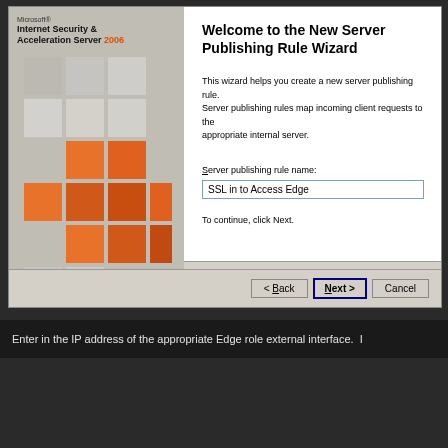[Figure (screenshot): Microsoft ISA Server 2006 New Server Publishing Rule Wizard welcome screen dialog. Left panel shows Microsoft Internet Security & Acceleration Server 2006 logo with orange cross/tile pattern. Right panel shows wizard title 'Welcome to the New Server Publishing Rule Wizard', description text, a text field labeled 'Server publishing rule name:' with value 'SSL in to Access Edge', and instruction 'To continue, click Next.' Bottom has Back, Next, Cancel buttons.]
Enter in the IP address of the appropriate Edge role external interface. I
[Figure (screenshot): New Server Publishing Rule Wizard - Select Server step. Title bar shows 'New Server Publishing Rule Wizard'. Content shows 'Select Server' heading and 'Specify the network IP address of the server you are publishing.' with an input field on the right.]